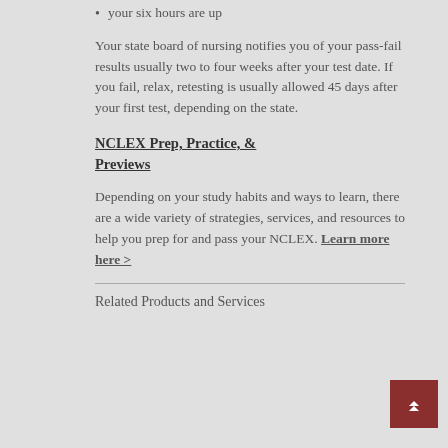your six hours are up
Your state board of nursing notifies you of your pass-fail results usually two to four weeks after your test date. If you fail, relax, retesting is usually allowed 45 days after your first test, depending on the state.
NCLEX Prep, Practice, & Previews
Depending on your study habits and ways to learn, there are a wide variety of strategies, services, and resources to help you prep for and pass your NCLEX. Learn more here >
Related Products and Services